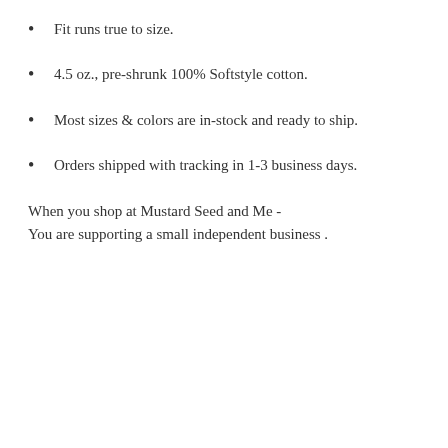Fit runs true to size.
4.5 oz., pre-shrunk 100% Softstyle cotton.
Most sizes & colors are in-stock and ready to ship.
Orders shipped with tracking in 1-3 business days.
When you shop at Mustard Seed and Me -
You are supporting a small independent business .